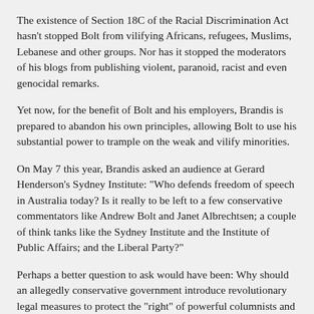The existence of Section 18C of the Racial Discrimination Act hasn't stopped Bolt from vilifying Africans, refugees, Muslims, Lebanese and other groups. Nor has it stopped the moderators of his blogs from publishing violent, paranoid, racist and even genocidal remarks.
Yet now, for the benefit of Bolt and his employers, Brandis is prepared to abandon his own principles, allowing Bolt to use his substantial power to trample on the weak and vilify minorities.
On May 7 this year, Brandis asked an audience at Gerard Henderson's Sydney Institute: "Who defends freedom of speech in Australia today? Is it really to be left to a few conservative commentators like Andrew Bolt and Janet Albrechtsen; a couple of think tanks like the Sydney Institute and the Institute of Public Affairs; and the Liberal Party?"
Perhaps a better question to ask would have been: Why should an allegedly conservative government introduce revolutionary legal measures to protect the "right" of powerful columnists and shock jocks to abuse their freedom of speech to vilify others?